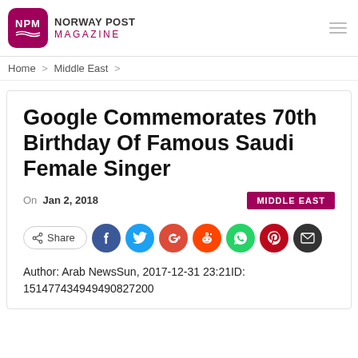NPM NORWAY POST MAGAZINE
Home > Middle East >
Google Commemorates 70th Birthday Of Famous Saudi Female Singer
On Jan 2, 2018   MIDDLE EAST
[Figure (other): Social share buttons: Share, Facebook, Twitter, Google+, Reddit, WhatsApp, Pinterest, Email]
Author: Arab NewsSun, 2017-12-31 23:21ID: 151477434949490827200